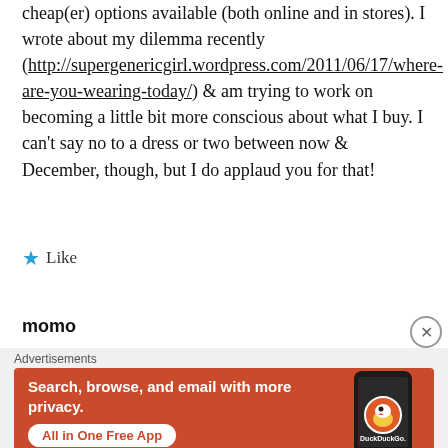cheap(er) options available (both online and in stores). I wrote about my dilemma recently (http://supergenericgirl.wordpress.com/2011/06/17/where-are-you-wearing-today/) & am trying to work on becoming a little bit more conscious about what I buy. I can't say no to a dress or two between now & December, though, but I do applaud you for that!
★ Like
momo
[Figure (screenshot): DuckDuckGo advertisement banner with orange background showing 'Search, browse, and email with more privacy. All in One Free App' with a phone image and DuckDuckGo logo]